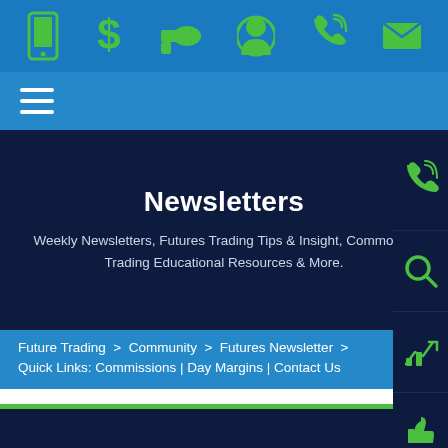Top navigation bar with icons: mobile app, dollar sign, bullhorn/promotions, account/user, phone, email
Navigation bar with hamburger menu
Newsletters
Weekly Newsletters, Futures Trading Tips & Insight, Commodity Trading Educational Resources & More.
Future Trading > Community > Futures Newsletter >
Quick Links: Commissions | Day Margins | Contact Us